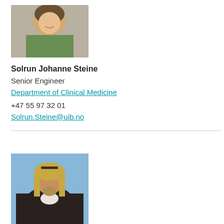[Figure (photo): Headshot photo of Solrun Johanne Steine, a woman smiling, wearing a green top]
Solrun Johanne Steine
Senior Engineer
Department of Clinical Medicine
+47 55 97 32 01
Solrun.Steine@uib.no
[Figure (photo): Photo of a man with long blonde/grey hair and beard, arms crossed, wearing a black leather jacket, blue sky background]